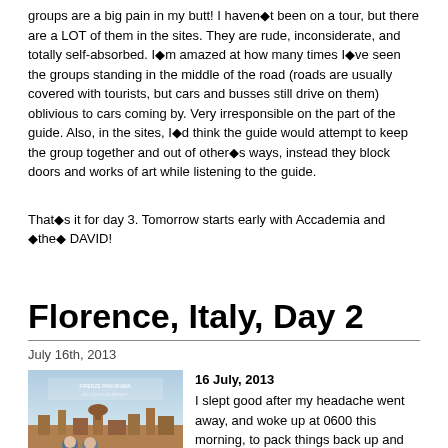groups are a big pain in my butt! I haven◆t been on a tour, but there are a LOT of them in the sites. They are rude, inconsiderate, and totally self-absorbed. I◆m amazed at how many times I◆ve seen the groups standing in the middle of the road (roads are usually covered with tourists, but cars and busses still drive on them) oblivious to cars coming by. Very irresponsible on the part of the guide. Also, in the sites, I◆d think the guide would attempt to keep the group together and out of other◆s ways, instead they block doors and works of art while listening to the guide.
That◆s it for day 3. Tomorrow starts early with Accademia and ◆the◆ DAVID!
Florence, Italy, Day 2
July 16th, 2013
[Figure (photo): Two people standing on a terrace or viewpoint overlooking the city of Florence, Italy. Skyline of Florence visible in the background.]
16 July, 2013
I slept good after my headache went away, and woke up at 0600 this morning, to pack things back up and get ready to head out. We had breakfast (cappuccino and a brioche) and talked to the man running our temp hotel. We stopped by the original hotel, and he promised that they would go